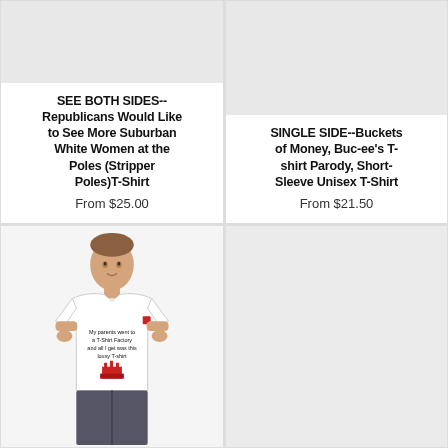[Figure (photo): E-commerce product listing top-left: light gray placeholder image area for a t-shirt product]
SEE BOTH SIDES-- Republicans Would Like to See More Suburban White Women at the Poles (Stripper Poles)T-Shirt
From $25.00
[Figure (photo): E-commerce product listing top-right: light gray placeholder image area for a t-shirt product]
SINGLE SIDE--Buckets of Money, Buc-ee's T-shirt Parody, Short-Sleeve Unisex T-Shirt
From $21.50
[Figure (photo): E-commerce product photo bottom-left: young man wearing a white short-sleeve t-shirt with text 'My parents went to a T-Shirt Factory and all I get was this lousy T-shirt' and a red factory graphic]
[Figure (photo): E-commerce product listing bottom-right: light gray placeholder image area]